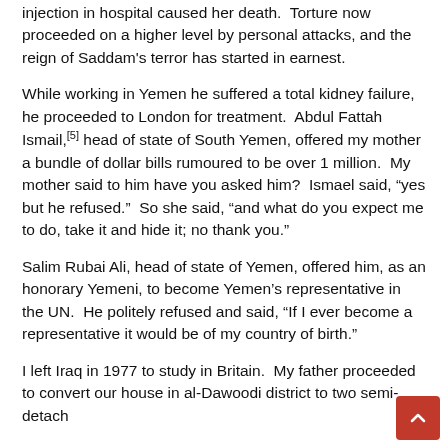injection in hospital caused her death. Torture now proceeded on a higher level by personal attacks, and the reign of Saddam's terror has started in earnest.
While working in Yemen he suffered a total kidney failure, he proceeded to London for treatment. Abdul Fattah Ismail,[5] head of state of South Yemen, offered my mother a bundle of dollar bills rumoured to be over 1 million. My mother said to him have you asked him? Ismael said, "yes but he refused." So she said, "and what do you expect me to do, take it and hide it; no thank you."
Salim Rubai Ali, head of state of Yemen, offered him, as an honorary Yemeni, to become Yemen's representative in the UN. He politely refused and said, "If I ever become a representative it would be of my country of birth."
I left Iraq in 1977 to study in Britain. My father proceeded to convert our house in al-Dawoodi district to two semi-detach...